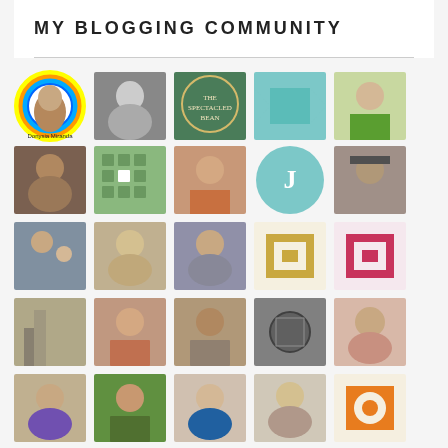MY BLOGGING COMMUNITY
[Figure (photo): Grid of blogger profile avatars and pattern icons arranged in a 5-column grid, showing approximately 35 profile photos and decorative quilt/pattern icons representing a blogging community]